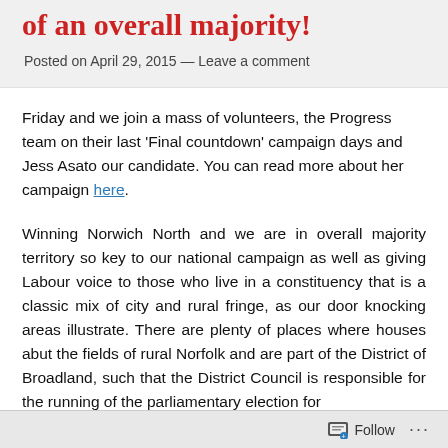of an overall majority!
Posted on April 29, 2015 — Leave a comment
Friday and we join a mass of volunteers, the Progress team on their last 'Final countdown' campaign days and Jess Asato our candidate. You can read more about her campaign here.
Winning Norwich North and we are in overall majority territory so key to our national campaign as well as giving Labour voice to those who live in a constituency that is a classic mix of city and rural fringe, as our door knocking areas illustrate. There are plenty of places where houses abut the fields of rural Norfolk and are part of the District of Broadland, such that the District Council is responsible for the running of the parliamentary election for
Follow ...